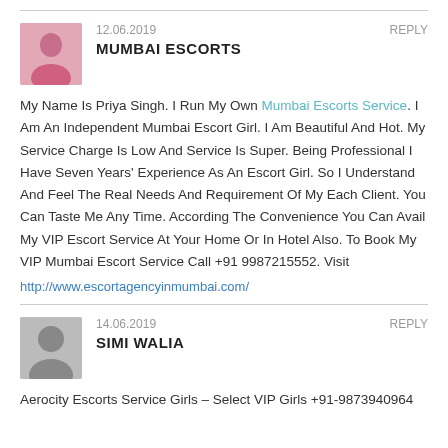12.06.2019   REPLY
MUMBAI ESCORTS
My Name Is Priya Singh. I Run My Own Mumbai Escorts Service. I Am An Independent Mumbai Escort Girl. I Am Beautiful And Hot. My Service Charge Is Low And Service Is Super. Being Professional I Have Seven Years' Experience As An Escort Girl. So I Understand And Feel The Real Needs And Requirement Of My Each Client. You Can Taste Me Any Time. According The Convenience You Can Avail My VIP Escort Service At Your Home Or In Hotel Also. To Book My VIP Mumbai Escort Service Call +91 9987215552. Visit http://www.escortagencyinmumbai.com/
14.06.2019   REPLY
SIMI WALIA
Aerocity Escorts Service Girls – Select VIP Girls +91-9873940964